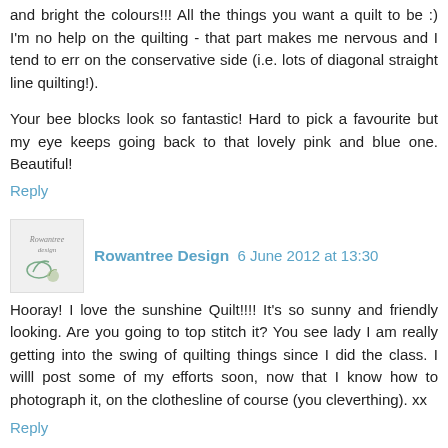:) I'm no help on the quilting - that part makes me nervous and I tend to err on the conservative side (i.e. lots of diagonal straight line quilting!).
Your bee blocks look so fantastic! Hard to pick a favourite but my eye keeps going back to that lovely pink and blue one. Beautiful!
Reply
Rowantree Design 6 June 2012 at 13:30
Hooray! I love the sunshine Quilt!!!! It's so sunny and friendly looking. Are you going to top stitch it? You see lady I am really getting into the swing of quilting things since I did the class. I willl post some of my efforts soon, now that I know how to photograph it, on the clothesline of course (you cleverthing). xx
Reply
Miriam 6 June 2012 at 13:43